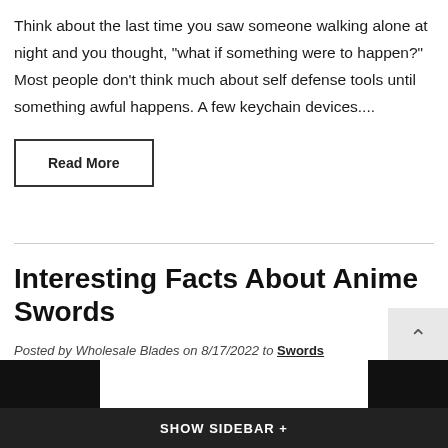Think about the last time you saw someone walking alone at night and you thought, “what if something were to happen?” Most people don’t think much about self defense tools until something awful happens. A few keychain devices....
Read More
Interesting Facts About Anime Swords
Posted by Wholesale Blades on 8/17/2022 to Swords
SHOW SIDEBAR +